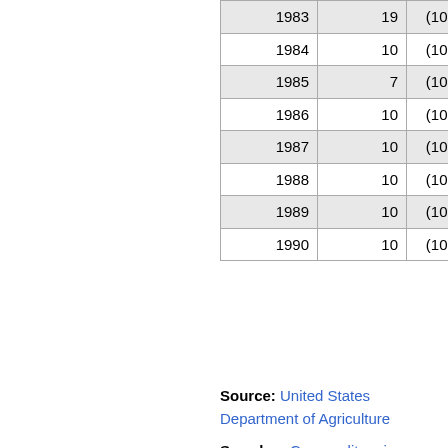| Year | Value | Unit | Change |
| --- | --- | --- | --- |
| 1983 | 19 | (1000 MT) | 11.7 |
| 1984 | 10 | (1000 MT) | -47.3 |
| 1985 | 7 | (1000 MT) | -30.0 |
| 1986 | 10 | (1000 MT) | 42.8 |
| 1987 | 10 | (1000 MT) | 0.0 |
| 1988 | 10 | (1000 MT) | 0.0 |
| 1989 | 10 | (1000 MT) | 0.0 |
| 1990 | 10 | (1000 MT) | 0.0 |
Source: United States Department of Agriculture
See also: Commodity prices
See also: Agricultural prices
See also: Commodities market